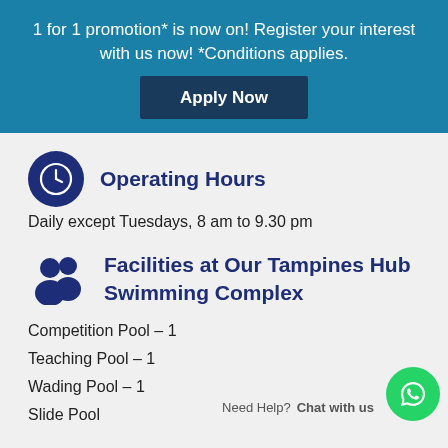1 for 1 promotion* is now on! Register your interest with us now! *Conditions applies.
Apply Now
Operating Hours
Daily except Tuesdays, 8 am to 9.30 pm
Facilities at Our Tampines Hub Swimming Complex
Competition Pool – 1
Teaching Pool – 1
Wading Pool – 1
Slide Pool
Need Help? Chat with us